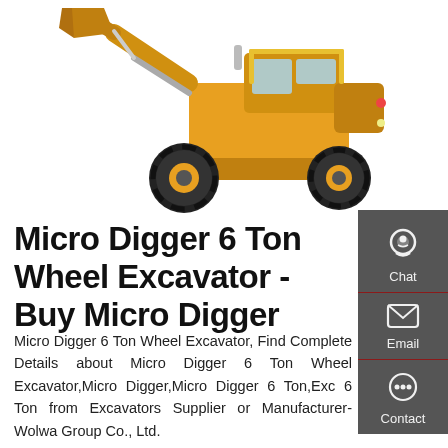[Figure (photo): Yellow wheel loader excavator (front loader) facing right, on white background]
Micro Digger 6 Ton Wheel Excavator - Buy Micro Digger
Micro Digger 6 Ton Wheel Excavator, Find Complete Details about Micro Digger 6 Ton Wheel Excavator,Micro Digger,Micro Digger 6 Ton,Exc 6 Ton from Excavators Supplier or Manufacturer-Wolwa Group Co., Ltd.